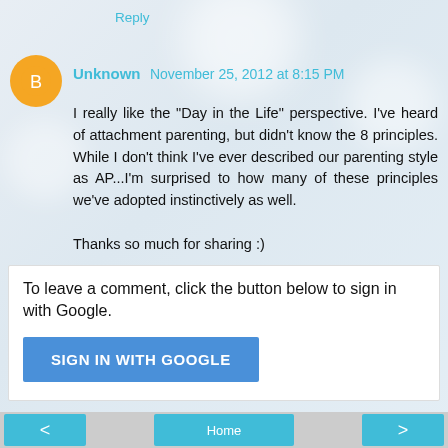Reply
Unknown November 25, 2012 at 8:15 PM
I really like the "Day in the Life" perspective. I've heard of attachment parenting, but didn't know the 8 principles. While I don't think I've ever described our parenting style as AP...I'm surprised to how many of these principles we've adopted instinctively as well.

Thanks so much for sharing :)
Reply
To leave a comment, click the button below to sign in with Google.
SIGN IN WITH GOOGLE
< Home >